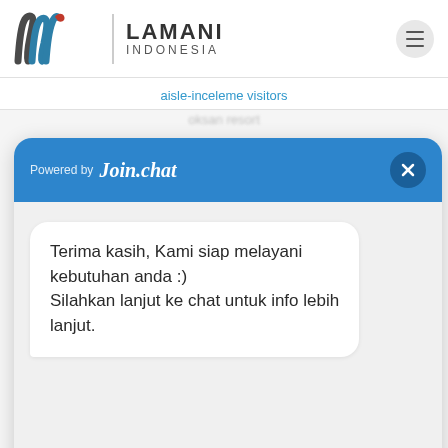[Figure (logo): Lamani Indonesia logo with stylized 'lw' mark in dark gray and teal with red accent, vertical divider, and LAMANI INDONESIA text]
aisle-inceleme visitors
[Figure (screenshot): Join.chat chat widget with blue header showing 'Powered by Join.chat', a close (X) button, a white chat bubble saying 'Terima kasih, Kami siap melayani kebutuhan anda :) Silahkan lanjut ke chat untuk info lebih lanjut.', and a blue 'Kirim Pesan' send button]
Terima kasih, Kami siap melayani kebutuhan anda :)
Silahkan lanjut ke chat untuk info lebih lanjut.
Kirim Pesan